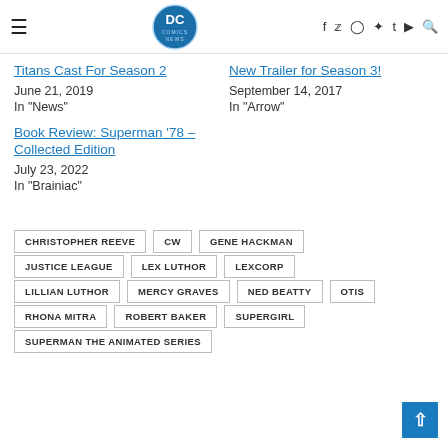DC Comics News — navigation header with hamburger menu, DC Comics News logo, social icons (f, twitter, instagram, pinterest, tumblr, youtube, search)
Titans Cast For Season 2
June 21, 2019
In "News"
New Trailer for Season 3!
September 14, 2017
In "Arrow"
Book Review: Superman '78 – Collected Edition
July 23, 2022
In "Brainiac"
CHRISTOPHER REEVE
CW
GENE HACKMAN
JUSTICE LEAGUE
LEX LUTHOR
LEXCORP
LILLIAN LUTHOR
MERCY GRAVES
NED BEATTY
OTIS
RHONA MITRA
ROBERT BAKER
SUPERGIRL
SUPERMAN THE ANIMATED SERIES